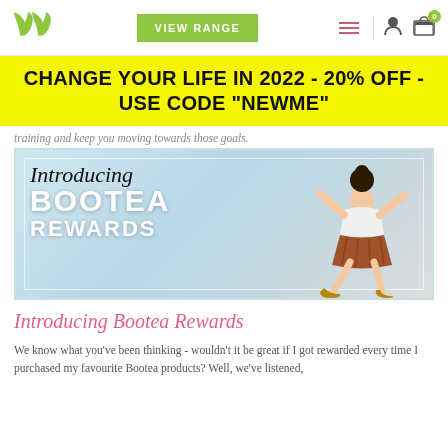[Figure (screenshot): Website navigation bar with green leaf logo, 'VIEW RANGE' green button, hamburger menu icon, user account icon, and shopping cart icon with '0' badge]
CHANGE YOUR LIFE IN 2022 - 20% OFF - USE CODE "NEWME"
training and keep you moving towards those goals.
[Figure (photo): Promotional banner image showing 'Introducing Bootea Rewards' text overlay on a photo of a young woman jumping joyfully against a sky background]
Introducing Bootea Rewards
We know what you've been thinking - wouldn't it be great if I got rewarded every time I purchased my favourite Bootea products? Well, we've listened,